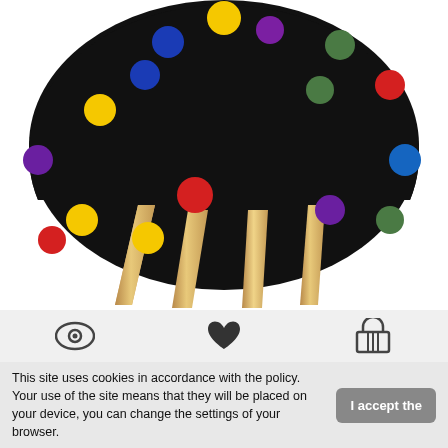[Figure (photo): A black upholstered round stool with colorful pom-pom decorations (yellow, blue, red, green, purple) attached to the fabric, supported by four natural wood tapered legs, photographed on a white background.]
[Figure (infographic): Three icons in a light gray bar: an eye icon on the left, a heart/favorite icon in the center, and a shopping basket icon on the right.]
This site uses cookies in accordance with the policy. Your use of the site means that they will be placed on your device, you can change the settings of your browser.
I accept the